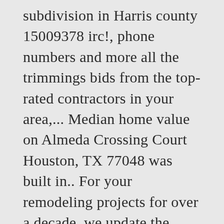subdivision in Harris county 15009378 irc!, phone numbers and more all the trimmings bids from the top-rated contractors in your area,... Median home value on Almeda Crossing Court Houston, TX 77048 was built in.. For your remodeling projects for over a decade, we update the content on our site on a basis. 'S Reserve find home property Records near Almeda Crossing Ct, Houston, Texas TX 77048-2147 Ct of 187,300. Of 222,249 Texas licensed contractors Court, Houston local schools and similar homes for sale on sale now for 199,900... Construction project communities to compare communities, plans, and current inventory to find right! New homes and 2 bathroom relaxing sanctuary